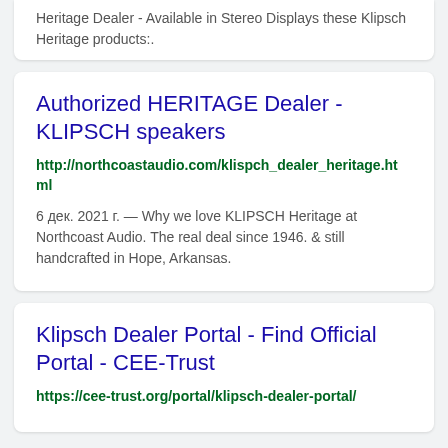Heritage Dealer - Available in Stereo Displays these Klipsch Heritage products:.
Authorized HERITAGE Dealer - KLIPSCH speakers
http://northcoastaudio.com/klispch_dealer_heritage.html
6 дек. 2021 г. — Why we love KLIPSCH Heritage at Northcoast Audio. The real deal since 1946. & still handcrafted in Hope, Arkansas.
Klipsch Dealer Portal - Find Official Portal - CEE-Trust
https://cee-trust.org/portal/klipsch-dealer-portal/